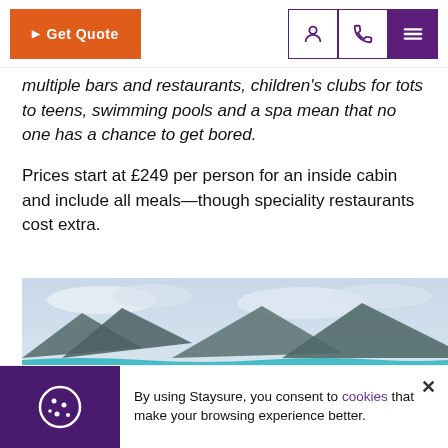Get Quote | [person icon] [phone icon] [menu icon]
multiple bars and restaurants, children's clubs for tots to teens, swimming pools and a spa mean that no one has a chance to get bored.
Prices start at £249 per person for an inside cabin and include all meals—though speciality restaurants cost extra.
[Figure (photo): Coastal landscape photograph showing turquoise sea water, white sandy beach, and mountains under a cloudy sky]
By using Staysure, you consent to cookies that make your browsing experience better.